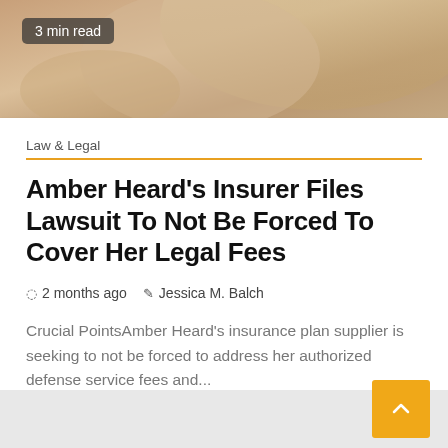[Figure (photo): Close-up photo of a blonde woman, partially visible, warm skin tones]
3 min read
Law & Legal
Amber Heard's Insurer Files Lawsuit To Not Be Forced To Cover Her Legal Fees
2 months ago   Jessica M. Balch
Crucial PointsAmber Heard's insurance plan supplier is seeking to not be forced to address her authorized defense service fees and...